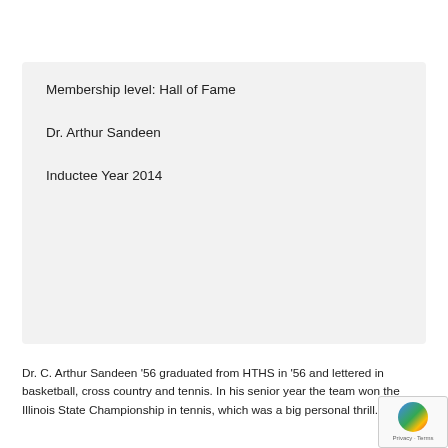Membership level: Hall of Fame
Dr. Arthur Sandeen
Inductee Year 2014
Dr. C. Arthur Sandeen '56 graduated from HTHS in '56 and lettered in basketball, cross country and tennis. In his senior year the team won the Illinois State Championship in tennis, which was a big personal thrill.